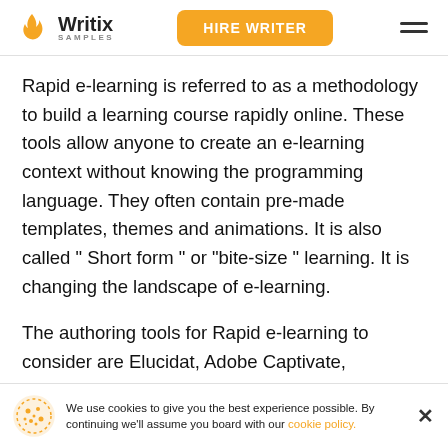Writix SAMPLES | HIRE WRITER
Rapid e-learning is referred to as a methodology to build a learning course rapidly online. These tools allow anyone to create an e-learning context without knowing the programming language. They often contain pre-made templates, themes and animations. It is also called " Short form " or "bite-size " learning. It is changing the landscape of e-learning.
The authoring tools for Rapid e-learning to consider are Elucidat, Adobe Captivate, articulate storyline, inspiring suit, gomo, etc. The rapid e-lear
We use cookies to give you the best experience possible. By continuing we'll assume you board with our cookie policy.